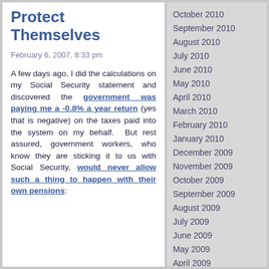Protect Themselves
February 6, 2007, 8:33 pm
A few days ago, I did the calculations on my Social Security statement and discovered the government was paying me a -0.8% a year return (yes that is negative) on the taxes paid into the system on my behalf. But rest assured, government workers, who know they are sticking it to us with Social Security, would never allow such a thing to happen with their own pensions:
October 2010
September 2010
August 2010
July 2010
June 2010
May 2010
April 2010
March 2010
February 2010
January 2010
December 2009
November 2009
October 2009
September 2009
August 2009
July 2009
June 2009
May 2009
April 2009
March 2009
February 2009